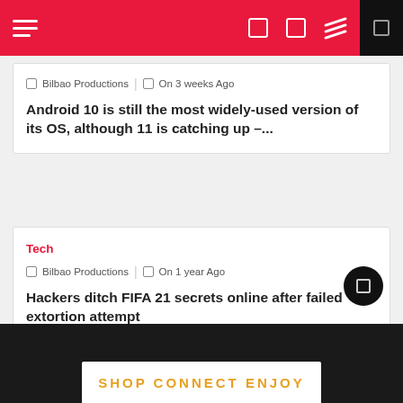Navigation bar with hamburger menu and icons
Bilbao Productions  |  On 3 weeks Ago
Android 10 is still the most widely-used version of its OS, although 11 is catching up –...
Tech
Bilbao Productions  |  On 1 year Ago
Hackers ditch FIFA 21 secrets online after failed extortion attempt
SHOP  CONNECT  ENJOY